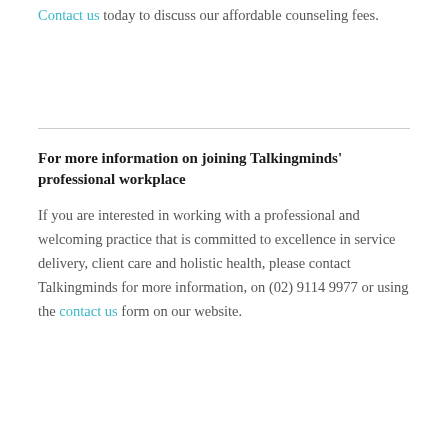Contact us today to discuss our affordable counseling fees.
For more information on joining Talkingminds' professional workplace
If you are interested in working with a professional and welcoming practice that is committed to excellence in service delivery, client care and holistic health, please contact Talkingminds for more information, on (02) 9114 9977 or using the contact us form on our website.